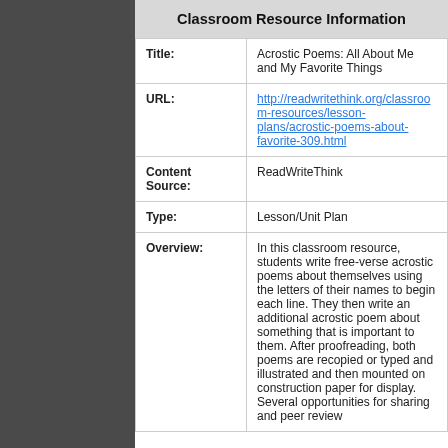Classroom Resource Information
| Field | Value |
| --- | --- |
| Title: | Acrostic Poems: All About Me and My Favorite Things |
| URL: | http://readwritethink.org/classroom-resources/lesson-plans/acrostic-poems-about-favorite-309.html |
| Content Source: | ReadWriteThink |
| Type: | Lesson/Unit Plan |
| Overview: | In this classroom resource, students write free-verse acrostic poems about themselves using the letters of their names to begin each line. They then write an additional acrostic poem about something that is important to them. After proofreading, both poems are recopied or typed and illustrated and then mounted on construction paper for display. Several opportunities for sharing and peer review |